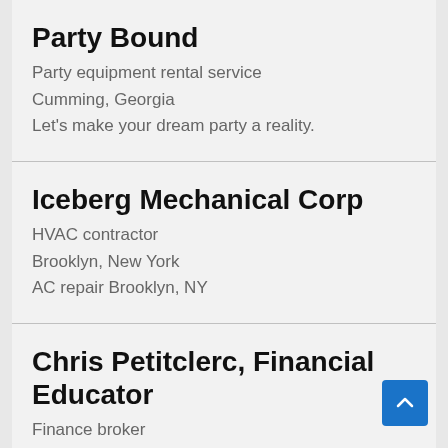Party Bound
Party equipment rental service
Cumming, Georgia
Let's make your dream party a reality.
Iceberg Mechanical Corp
HVAC contractor
Brooklyn, New York
AC repair Brooklyn, NY
Chris Petitclerc, Financial Educator
Finance broker